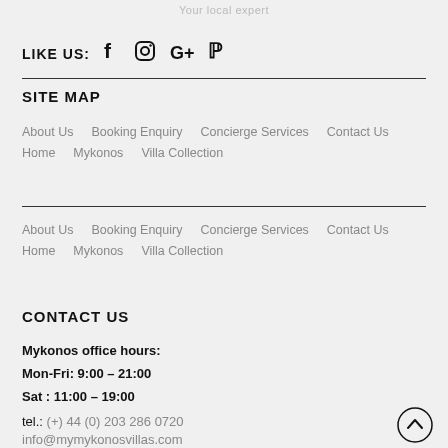Your local expert
LIKE US:  f  (instagram)  G+  P
SITE MAP
About Us   Booking Enquiry   Concierge Services   Contact Us
Home   Mykonos   Villa Collection
About Us   Booking Enquiry   Concierge Services   Contact Us
Home   Mykonos   Villa Collection
CONTACT US
Mykonos office hours:
Mon-Fri: 9:00 – 21:00
Sat : 11:00 – 19:00
tel.: (+) 44 (0) 203 286 0720
info@mymykonosvillas.com